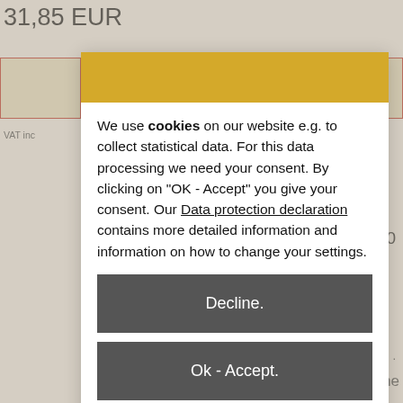31,85 EUR
VAT inc
200
23,1
VAT inc
eme
We use cookies on our website e.g. to collect statistical data. For this data processing we need your consent. By clicking on "OK - Accept" you give your consent. Our Data protection declaration contains more detailed information and information on how to change your settings.
Decline.
Ok - Accept.
Imprint